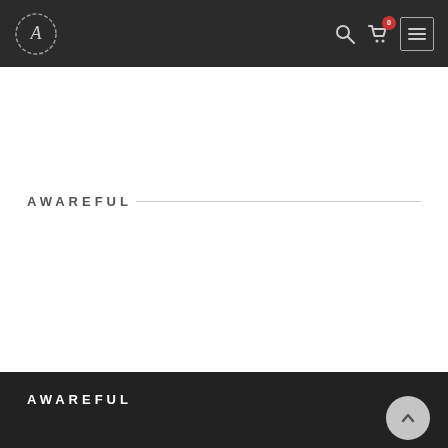Awareful — navigation header with logo, search, cart (0 items), and menu icon
AWAREFUL
AWAREFUL